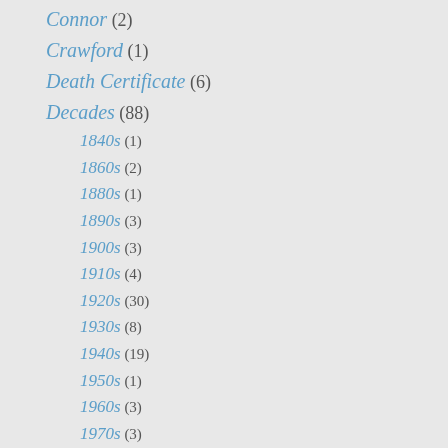Connor (2)
Crawford (1)
Death Certificate (6)
Decades (88)
1840s (1)
1860s (2)
1880s (1)
1890s (3)
1900s (3)
1910s (4)
1920s (30)
1930s (8)
1940s (19)
1950s (1)
1960s (3)
1970s (3)
1980s (6)
1990s (3)
2010s (2)
Devlin (1)